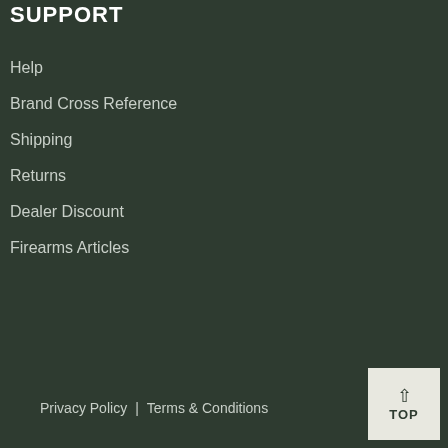SUPPORT
Help
Brand Cross Reference
Shipping
Returns
Dealer Discount
Firearms Articles
Privacy Policy | Terms & Conditions